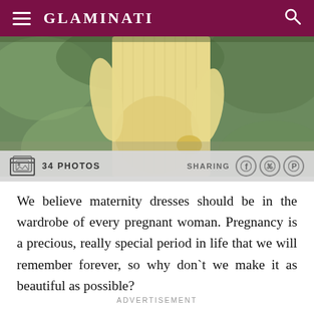GLAMINATI
[Figure (photo): Pregnant woman in a flowing yellow dress standing outdoors with greenery in background, viewed from mid-torso, cradling baby bump]
34 PHOTOS   SHARING
We believe maternity dresses should be in the wardrobe of every pregnant woman. Pregnancy is a precious, really special period in life that we will remember forever, so why don`t we make it as beautiful as possible?
ADVERTISEMENT